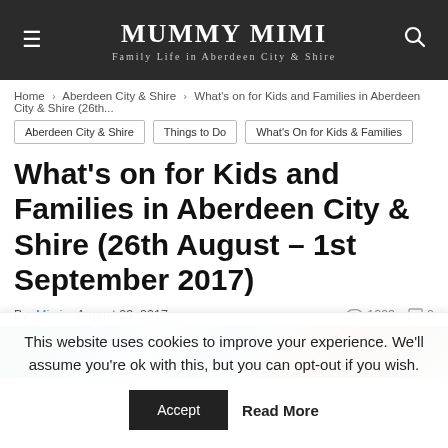MUMMY MIMI — Family Life in Aberdeen City & Shire
Home › Aberdeen City & Shire › What's on for Kids and Families in Aberdeen City & Shire (26th...
Aberdeen City & Shire
Things to Do
What's On for Kids & Families
What's on for Kids and Families in Aberdeen City & Shire (26th August – 1st September 2017)
By Mimi - August 23, 2017  1293  0
[Figure (photo): Hero image strip showing colorful collage of family activities]
This website uses cookies to improve your experience. We'll assume you're ok with this, but you can opt-out if you wish.
Accept  Read More